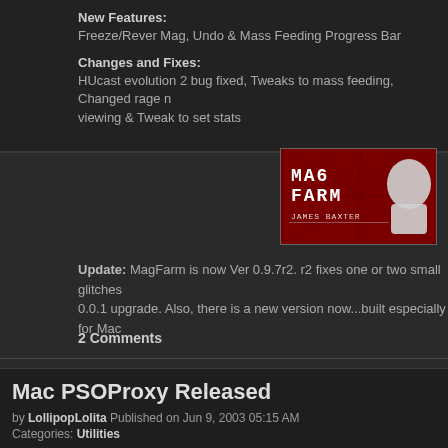New Features:
Freeze/Rever Mag, Undo & Mass Feeding Progress Bar
Changes and Fixes:
HUcast evolution 2 bug fixed, Tweaks to mass feeding, Changed rage n... viewing & Tweak to set stats
[Figure (illustration): MAG FARM by JAMES BAXTER banner image with red background and stylized character]
Update: MagFarm is now Ver 0.9.7r2. r2 fixes one or two small glitches 0.0.1 upgrade. Also, there is a new version now...built especially for Mac
2 Comments
Mac PSOProxy Released
by LollipopLolita Published on Jun 9, 2003 05:15 AM
Categories: Utilities
Anonymous writes, "Just wanted to let you know that we now have a Ma snapshot transfer utility, PSOProxy